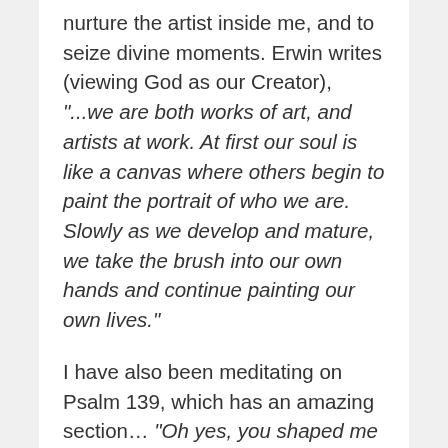nurture the artist inside me, and to seize divine moments. Erwin writes (viewing God as our Creator), "...we are both works of art, and artists at work. At first our soul is like a canvas where others begin to paint the portrait of who we are. Slowly as we develop and mature, we take the brush into our own hands and continue painting our own lives."
I have also been meditating on Psalm 139, which has an amazing section... "Oh yes, you shaped me first inside, then out; you formed me in my mother's womb. I thank you, High God—you're breathtaking! Body